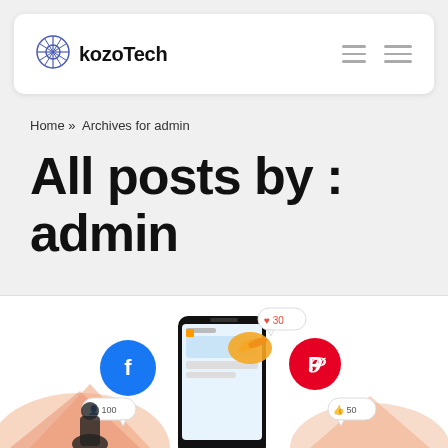kozoTech
Home » Archives for admin
All posts by : admin
[Figure (illustration): Social media marketing illustration showing a smartphone with social media icons (Facebook, Pinterest, Twitter/bird), speech bubbles with counts (30 likes, 100 followers, 50 likes), colorful geometric shapes in background]